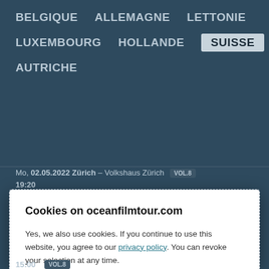BELGIQUE   ALLEMAGNE   LETTONIE   LUXEMBOURG   HOLLANDE   SUISSE   AUTRICHE
Mo, 02.05.2022 Zürich – Volkshaus Zürich VOL.8
19:20
Cookies on oceanfilmtour.com
Yes, we also use cookies. If you continue to use this website, you agree to our privacy policy. You can revoke your selection at any time.
ACCEPT ✓
COOKIE SETTINGS
15:00